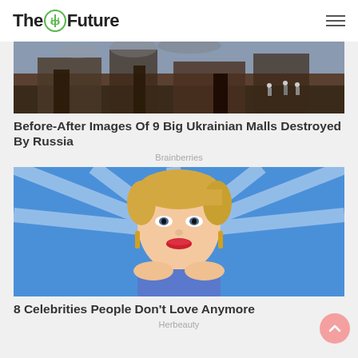The Future
[Figure (photo): Burned/destroyed building scene with firefighters and smoke damage]
Before-After Images Of 9 Big Ukrainian Malls Destroyed By Russia
Brainberries
[Figure (photo): Close-up portrait of a blonde female celebrity smiling, wearing gold earrings and blue outfit, with American Idol backdrop]
8 Celebrities People Don't Love Anymore
Herbeauty